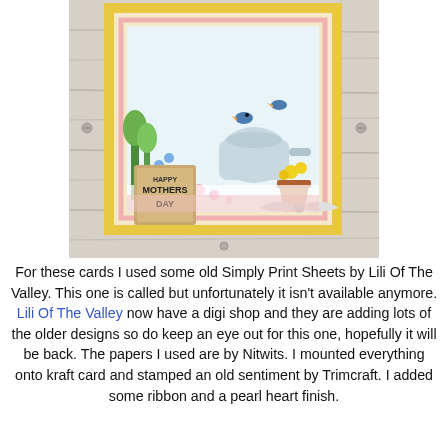[Figure (photo): A handmade Mother's Day card featuring a garden scene with a watering can, birds, flowers in a pot, layered decorative patterned papers in yellow and pink, a kraft tag stamped with 'Happy Mother's Day', and a white satin ribbon bow. The card is mounted on a gray wood-grain background.]
For these cards I used some old Simply Print Sheets by Lili Of The Valley. This one is called but unfortunately it isn't available anymore. Lili Of The Valley now have a digi shop and they are adding lots of the older designs so do keep an eye out for this one, hopefully it will be back. The papers I used are by Nitwits. I mounted everything onto kraft card and stamped an old sentiment by Trimcraft. I added some ribbon and a pearl heart finish.